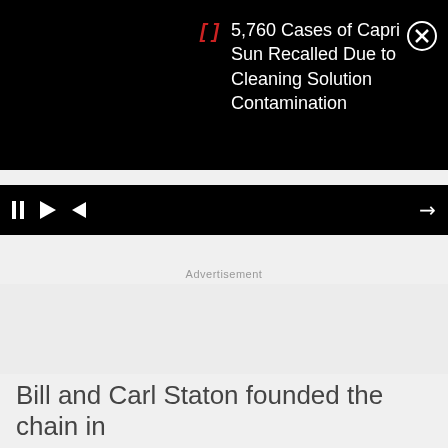[Figure (screenshot): Video player notification overlay on black background showing a news headline about Capri Sun recall, with bracket icon in red, close button (X in circle), and video playback controls (pause, play, back) at the bottom of the video area.]
Advertisement
Bill and Carl Staton founded the chain in